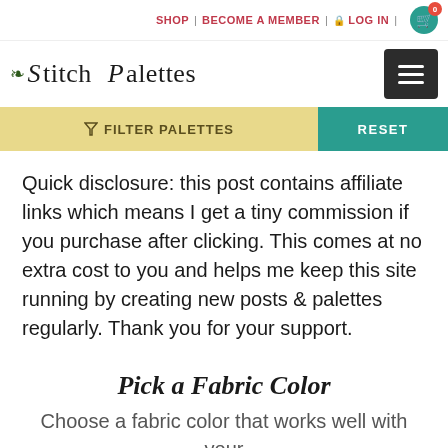SHOP | BECOME A MEMBER | LOG IN | 0
[Figure (logo): Stitch Palettes logo with decorative leaf/floral embellishments and hamburger menu button]
[Figure (infographic): Filter bar with 'FILTER PALETTES' on gold/yellow background and 'RESET' button on teal background]
Quick disclosure: this post contains affiliate links which means I get a tiny commission if you purchase after clicking. This comes at no extra cost to you and helps me keep this site running by creating new posts & palettes regularly. Thank you for your support.
Pick a Fabric Color
Choose a fabric color that works well with your threads